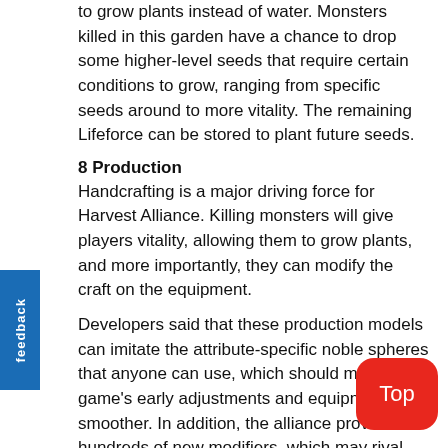to grow plants instead of water. Monsters killed in this garden have a chance to drop some higher-level seeds that require certain conditions to grow, ranging from specific seeds around to more vitality. The remaining Lifeforce can be stored to plant future seeds.
8 Production
Handcrafting is a major driving force for Harvest Alliance. Killing monsters will give players vitality, allowing them to grow plants, and more importantly, they can modify the craft on the equipment.
Developers said that these production models can imitate the attribute-specific noble spheres that anyone can use, which should make the game's early adjustments and equipment smoother. In addition, the alliance provides hundreds of new modifiers, which may rival the modifiers of the integrated alliance. If someone ever wanted to create an overwhelming role, then this may be the best league.
7 passive tree changes
Path of Exile's passive tree is one of the most iconic features in